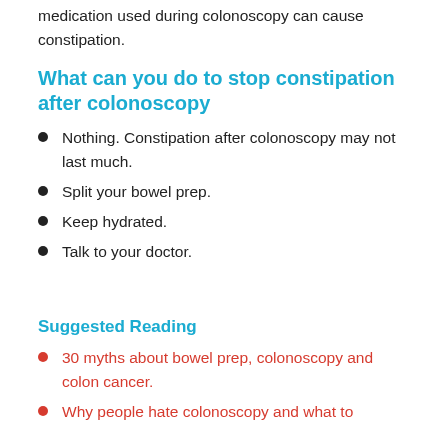medication used during colonoscopy can cause constipation.
What can you do to stop constipation after colonoscopy
Nothing. Constipation after colonoscopy may not last much.
Split your bowel prep.
Keep hydrated.
Talk to your doctor.
Suggested Reading
30 myths about bowel prep, colonoscopy and colon cancer.
Why people hate colonoscopy and what to